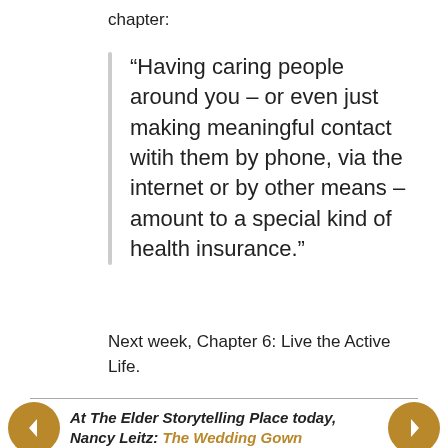chapter:
“Having caring people around you – or even just making meaningful contact witih them by phone, via the internet or by other means – amount to a special kind of health insurance.”
Next week, Chapter 6: Live the Active Life.
At The Elder Storytelling Place today, Nancy Leitz: The Wedding Gown